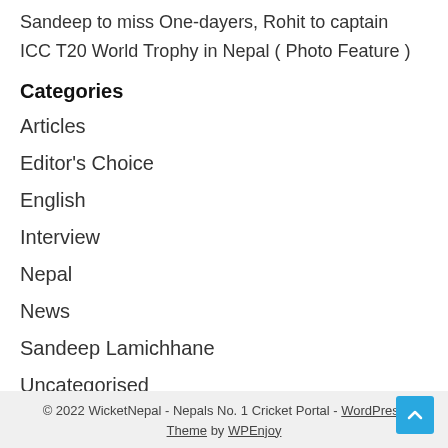Sandeep to miss One-dayers, Rohit to captain
ICC T20 World Trophy in Nepal ( Photo Feature )
Categories
Articles
Editor's Choice
English
Interview
Nepal
News
Sandeep Lamichhane
Uncategorised
© 2022 WicketNepal - Nepals No. 1 Cricket Portal - WordPress Theme by WPEnjoy